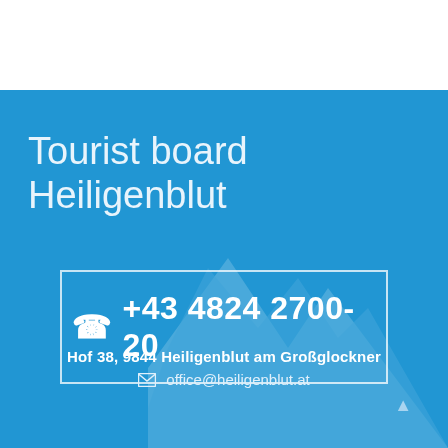Tourist board Heiligenblut
+43 4824 2700-20
Hof 38, 9844 Heiligenblut am Großglockner
office@heiligenblut.at